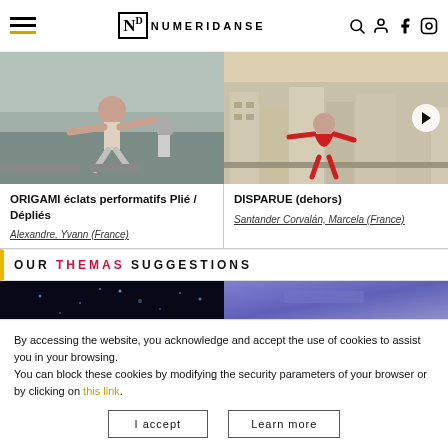NUMERIDANSE
[Figure (photo): Dancer jumping outdoors, arms spread wide, black and white wall background]
[Figure (photo): Person in red outfit crouching on rooftop with city skyline behind, video play button visible]
ORIGAMI éclats performatifs Plié / Dépliés
Alexandre, Yvann (France)
DISPARUE (dehors)
Santander Corvalán, Marcela (France)
OUR THEMAS SUGGESTIONS
[Figure (photo): Dark background with small dots of light]
[Figure (photo): Purple/blue gradient abstract image]
By accessing the website, you acknowledge and accept the use of cookies to assist you in your browsing.
You can block these cookies by modifying the security parameters of your browser or by clicking on this link.